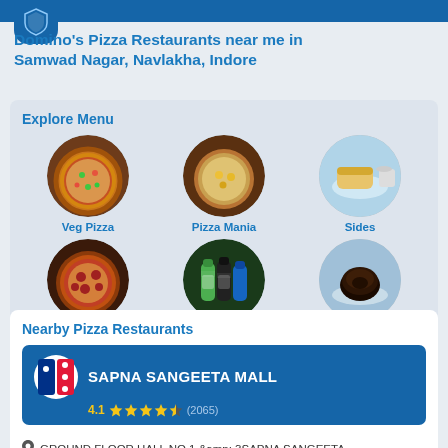Domino's Pizza Restaurants near me in Samwad Nagar, Navlakha, Indore
Explore Menu
[Figure (illustration): Circular food menu icons arranged in a 3x2 grid: Veg Pizza (pizza with vegetables), Pizza Mania (pasta/pizza), Sides (bread sides), Non-Veg Pizza (pepperoni pizza), Beverages (soft drink bottles), Desserts (chocolate lava cake)]
Nearby Pizza Restaurants
SAPNA SANGEETA MALL
4.1 ★★★★½ (2065)
GROUND FLOOR HALL NO.1 &amp; 3SAPNA SANGEETA MALLSCHEME NO. 47, SNEH N...